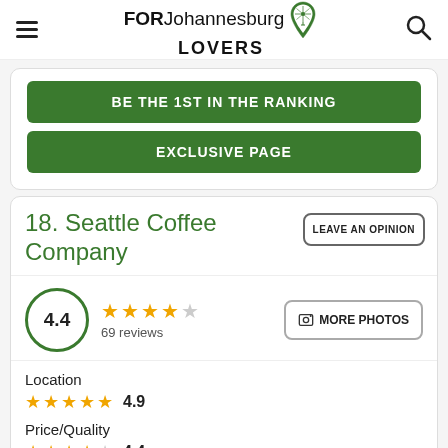FORJohannesburg LOVERS
BE THE 1ST IN THE RANKING
EXCLUSIVE PAGE
18. Seattle Coffee Company
LEAVE AN OPINION
4.4 — 69 reviews — MORE PHOTOS
Location 4.9
Price/Quality 4.4